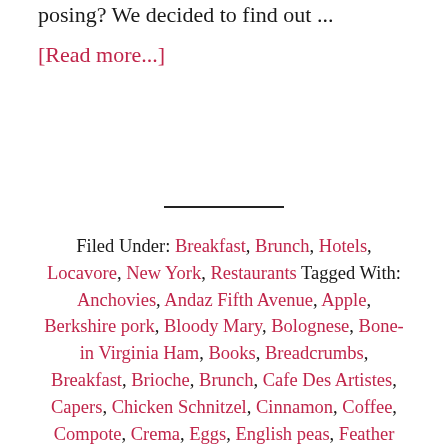posing? We decided to find out ...
[Read more...]
Filed Under: Breakfast, Brunch, Hotels, Locavore, New York, Restaurants Tagged With: Anchovies, Andaz Fifth Avenue, Apple, Berkshire pork, Bloody Mary, Bolognese, Bone-in Virginia Ham, Books, Breadcrumbs, Breakfast, Brioche, Brunch, Cafe Des Artistes, Capers, Chicken Schnitzel, Cinnamon, Coffee, Compote, Crema, Eggs, English peas, Feather